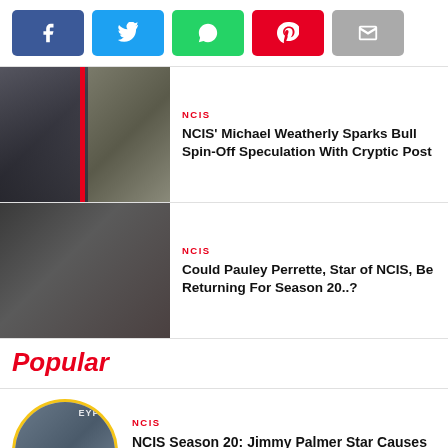[Figure (other): Social share buttons: Facebook (blue), Twitter (cyan), WhatsApp (green), Pinterest (red), Email (gray)]
[Figure (photo): Thumbnail image showing two NCIS characters side by side with a red vertical bar]
NCIS
NCIS' Michael Weatherly Sparks Bull Spin-Off Speculation With Cryptic Post
[Figure (photo): Thumbnail image showing Pauley Perrette and another NCIS cast member]
NCIS
Could Pauley Perrette, Star of NCIS, Be Returning For Season 20..?
Popular
[Figure (photo): Circular thumbnail photo of Jimmy Palmer actor at EYFES event]
NCIS
NCIS Season 20: Jimmy Palmer Star Causes Meltdown After Revealing A ‘Sneak Peek’ At His Return